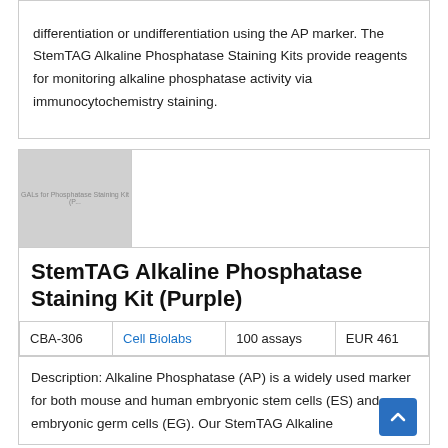differentiation or undifferentiation using the AP marker. The StemTAG Alkaline Phosphatase Staining Kits provide reagents for monitoring alkaline phosphatase activity via immunocytochemistry staining.
[Figure (photo): Placeholder image for alkaline phosphatase staining kit product photo, grey rectangle with watermark text 'GAL 16 Phosphatase Staining Kit (P...)']
StemTAG Alkaline Phosphatase Staining Kit (Purple)
| CBA-306 | Cell Biolabs | 100 assays | EUR 461 |
| --- | --- | --- | --- |
Description: Alkaline Phosphatase (AP) is a widely used marker for both mouse and human embryonic stem cells (ES) and embryonic germ cells (EG). Our StemTAG Alkaline